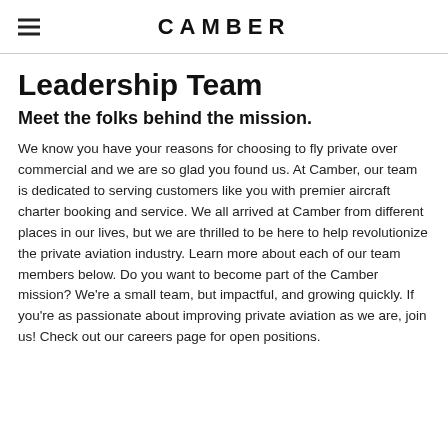CAMBER
Leadership Team
Meet the folks behind the mission.
We know you have your reasons for choosing to fly private over commercial and we are so glad you found us. At Camber, our team is dedicated to serving customers like you with premier aircraft charter booking and service. We all arrived at Camber from different places in our lives, but we are thrilled to be here to help revolutionize the private aviation industry. Learn more about each of our team members below. Do you want to become part of the Camber mission? We're a small team, but impactful, and growing quickly. If you're as passionate about improving private aviation as we are, join us! Check out our careers page for open positions.